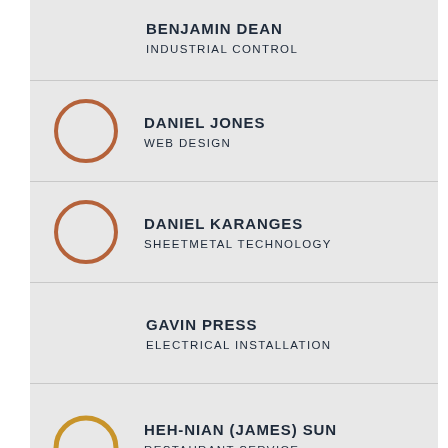[Figure (other): Hamburger menu icon, three horizontal lines, top right corner]
BENJAMIN DEAN
INDUSTRIAL CONTROL
DANIEL JONES
WEB DESIGN
DANIEL KARANGES
SHEETMETAL TECHNOLOGY
GAVIN PRESS
ELECTRICAL INSTALLATION
HEH-NIAN (JAMES) SUN
RESTAURANT SERVICE